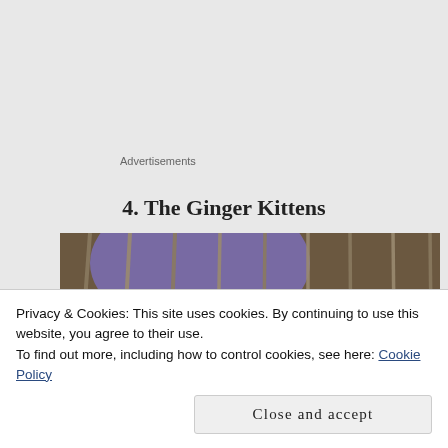Advertisements
4. The Ginger Kittens
[Figure (photo): Ginger kittens inside a wire cage with a purple background, metal bars in foreground]
Privacy & Cookies: This site uses cookies. By continuing to use this website, you agree to their use.
To find out more, including how to control cookies, see here: Cookie Policy
Close and accept